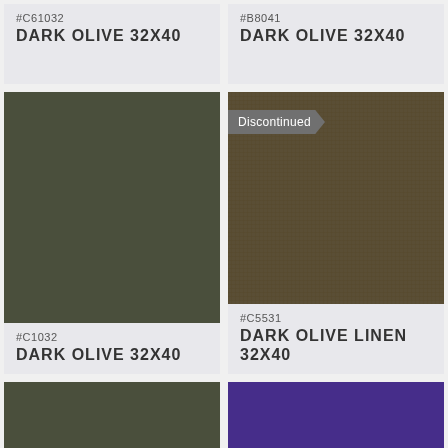#C61032
DARK OLIVE 32X40
#B8041
DARK OLIVE 32X40
[Figure (photo): Dark olive green solid color swatch, square]
#C1032
DARK OLIVE 32X40
[Figure (photo): Dark olive linen textured color swatch with Discontinued banner]
#C5531
DARK OLIVE LINEN 32X40
[Figure (photo): Dark olive green solid color swatch, square (partial bottom)]
[Figure (photo): Purple solid color swatch, square (partial bottom)]